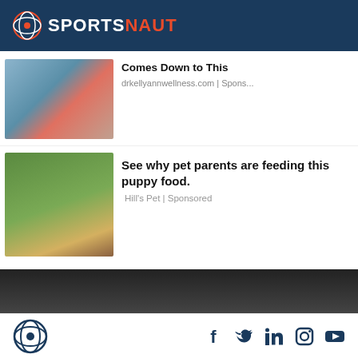SPORTSNAUT
Comes Down to This
drkellyannwellness.com | Spons...
[Figure (photo): Woman in bikini sitting on a dock by water]
[Figure (photo): Dog playing with toy on grass]
See why pet parents are feeding this puppy food.
Hill's Pet | Sponsored
[Figure (photo): Dark portrait photo with purple bar at bottom]
SPORTSNAUT social icons: Facebook, Twitter, LinkedIn, Instagram, YouTube